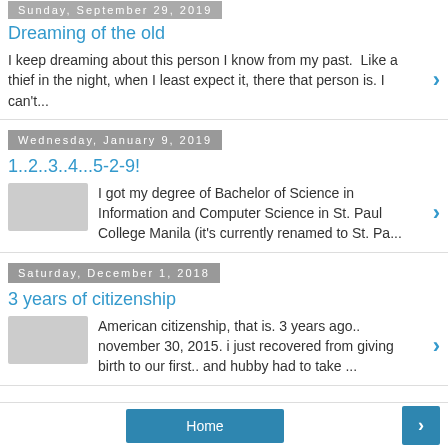Sunday, September 29, 2019
Dreaming of the old
I keep dreaming about this person I know from my past.  Like a thief in the night, when I least expect it, there that person is. I can't...
Wednesday, January 9, 2019
1..2..3..4...5-2-9!
I got my degree of Bachelor of Science in Information and Computer Science in St. Paul College Manila (it's currently renamed to St. Pa...
Saturday, December 1, 2018
3 years of citizenship
American citizenship, that is. 3 years ago.. november 30, 2015. i just recovered from giving birth to our first.. and hubby had to take ...
Home  >